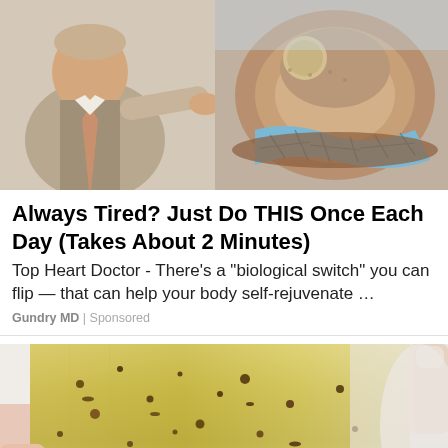[Figure (photo): Advertisement image showing a doctor in a suit pointing at a geological cross-section model with soil layers and blue cracked material]
Always Tired? Just Do THIS Once Each Day (Takes About 2 Minutes)
Top Heart Doctor - There’s a “biological switch” you can flip — that can help your body self-rejuvenate …
Gundry MD | Sponsored
[Figure (photo): Close-up image of a yellowish-green gelatinous strip or substance with dark brown speckles, held between fingers, with white crystalline material in background]